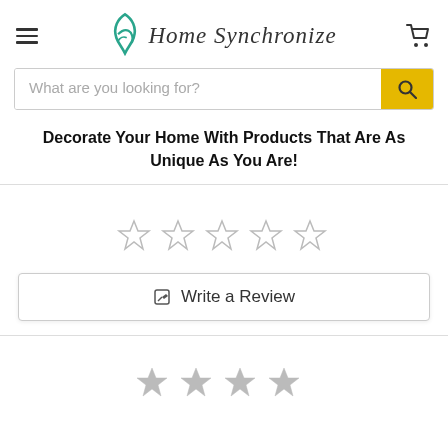Home Synchronize
What are you looking for?
Decorate Your Home With Products That Are As Unique As You Are!
[Figure (other): Five empty star rating icons (0 out of 5 stars)]
Write a Review
[Figure (other): Four filled grey star rating icons (partial view, bottom of page)]